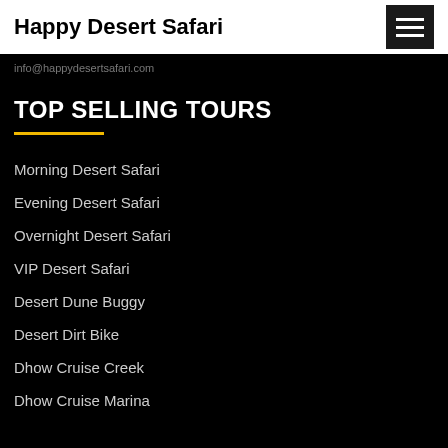Happy Desert Safari
info@happydesertsafari.com
TOP SELLING TOURS
Morning Desert Safari
Evening Desert Safari
Overnight Desert Safari
VIP Desert Safari
Desert Dune Buggy
Desert Dirt Bike
Dhow Cruise Creek
Dhow Cruise Marina